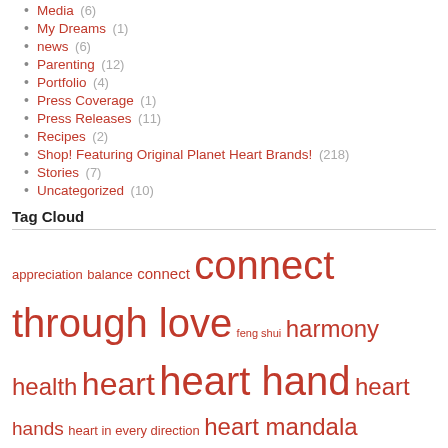Media (6)
My Dreams (1)
news (6)
Parenting (12)
Portfolio (4)
Press Coverage (1)
Press Releases (11)
Recipes (2)
Shop! Featuring Original Planet Heart Brands! (218)
Stories (7)
Uncategorized (10)
Tag Cloud
appreciation balance connect connect through love feng shui harmony health heart heart hand heart hands heart in every direction heart mandala heartmark HeartMark Health HeartMark Yogalates hearts hemispheres I heartMark You infinite goodness key chain Lehavi live and love within the spaces love love all around